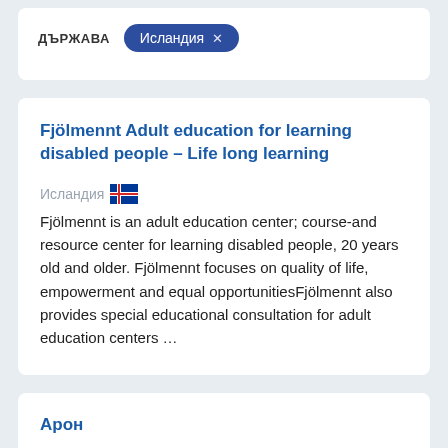ДЪРЖАВА
Исландия ×
Fjölmennt Adult education for learning disabled people – Life long learning
Исландия 🇮🇸
Fjölmennt is an adult education center; course-and resource center for learning disabled people, 20 years old and older. Fjölmennt focuses on quality of life, empowerment and equal opportunitiesFjölmennt also provides special educational consultation for adult education centers …
Арон